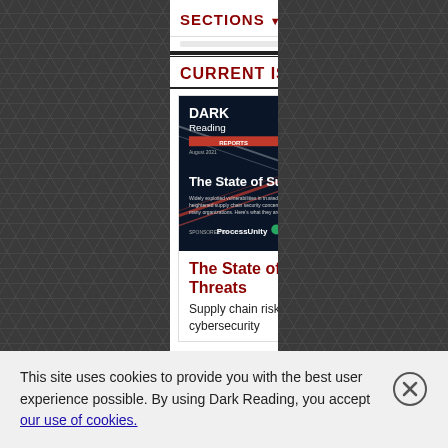SECTIONS ▼
CURRENT ISSUE
[Figure (illustration): Dark Reading Reports cover image: The State of Supply Chain Threats. Dark blue background with network/highway interchange visual. Title text in white. Subtitle text. Sponsored by ProcessUnity. Informa Tech logo.]
The State of Supply Chain Threats
Supply chain risks is top of mind for cybersecurity
This site uses cookies to provide you with the best user experience possible. By using Dark Reading, you accept our use of cookies.